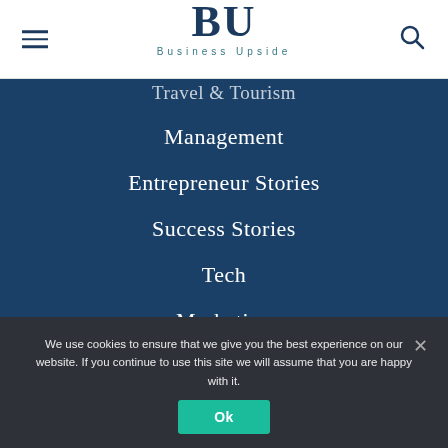BU — Business Upside
Travel & Tourism
Management
Entrepreneur Stories
Success Stories
Tech
Marketing
Science
We use cookies to ensure that we give you the best experience on our website. If you continue to use this site we will assume that you are happy with it.